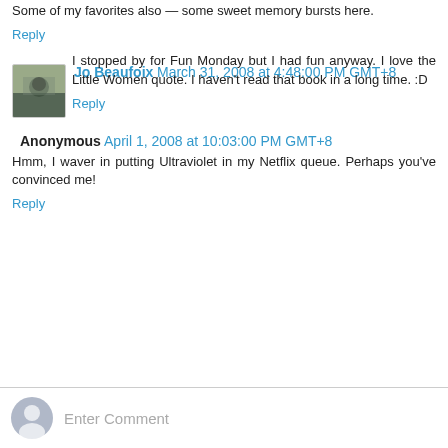Some of my favorites also — some sweet memory bursts here.
Reply
Jo Beaufoix  March 31, 2008 at 4:48:00 PM GMT+8
I stopped by for Fun Monday but I had fun anyway. I love the Little Women quote. I haven't read that book in a long time. :D
Reply
Anonymous  April 1, 2008 at 10:03:00 PM GMT+8
Hmm, I waver in putting Ultraviolet in my Netflix queue. Perhaps you've convinced me!
Reply
Enter Comment